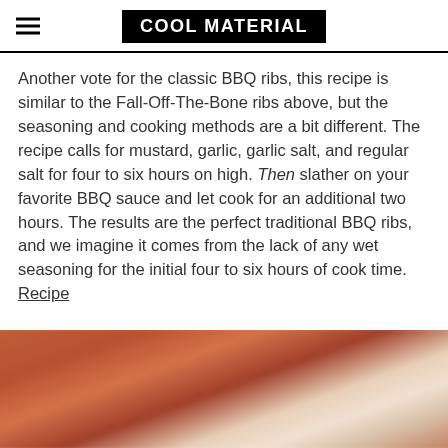COOL MATERIAL
Another vote for the classic BBQ ribs, this recipe is similar to the Fall-Off-The-Bone ribs above, but the seasoning and cooking methods are a bit different. The recipe calls for mustard, garlic, garlic salt, and regular salt for four to six hours on high. Then slather on your favorite BBQ sauce and let cook for an additional two hours. The results are the perfect traditional BBQ ribs, and we imagine it comes from the lack of any wet seasoning for the initial four to six hours of cook time. Recipe
[Figure (photo): Close-up photo of BBQ ribs with sauce and seasoning, blurred/out-of-focus]